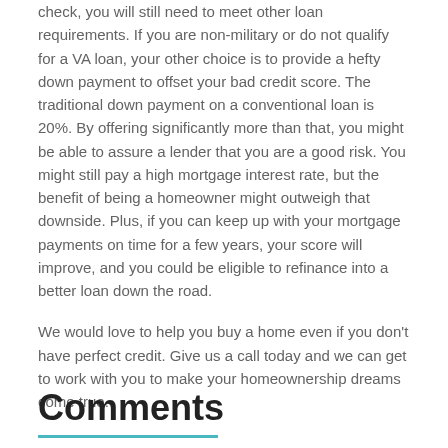check, you will still need to meet other loan requirements. If you are non-military or do not qualify for a VA loan, your other choice is to provide a hefty down payment to offset your bad credit score. The traditional down payment on a conventional loan is 20%. By offering significantly more than that, you might be able to assure a lender that you are a good risk. You might still pay a high mortgage interest rate, but the benefit of being a homeowner might outweigh that downside. Plus, if you can keep up with your mortgage payments on time for a few years, your score will improve, and you could be eligible to refinance into a better loan down the road.
We would love to help you buy a home even if you don't have perfect credit. Give us a call today and we can get to work with you to make your homeownership dreams come true.
Comments